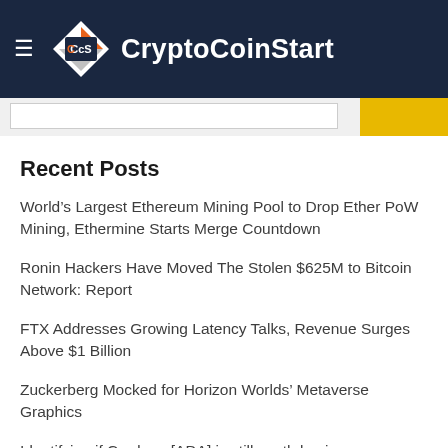CryptoCoinStart
Recent Posts
World’s Largest Ethereum Mining Pool to Drop Ether PoW Mining, Ethermine Starts Merge Countdown
Ronin Hackers Have Moved The Stolen $625M to Bitcoin Network: Report
FTX Addresses Growing Latency Talks, Revenue Surges Above $1 Billion
Zuckerberg Mocked for Horizon Worlds’ Metaverse Graphics
Identifying if Cardano [ADA] is still worth buying